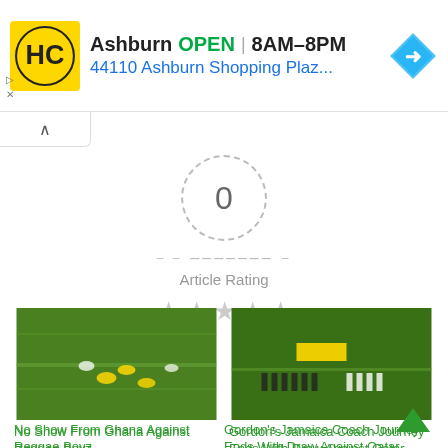[Figure (infographic): Advertisement banner: HC logo (yellow/black), Ashburn OPEN 8AM-8PM, 44110 Ashburn Shopping Plaz..., navigation arrow icon, small play/close icons]
Ashburn  OPEN | 8AM–8PM
44110 Ashburn Shopping Plaz...
0
Article Rating
[Figure (photo): Soccer match photo showing players in yellow/black and white kits on green pitch - Ghana vs Reggae Boyz]
No Show From Ghana Against Reggae Boyz
[Figure (photo): Soccer teams lined up on pitch with crowd and banner in background - Jamaica vs Qatar]
Gordon's Jamaica Coach Journey Ends With Draw Against Qatar